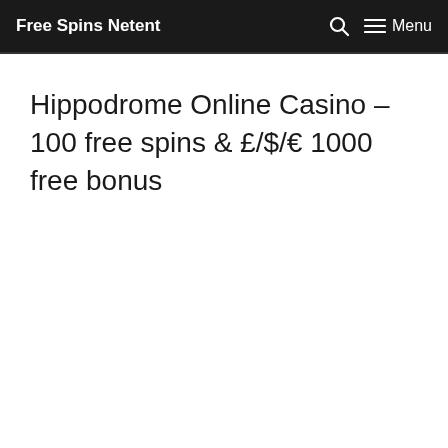Free Spins Netent  Menu
Hippodrome Online Casino – 100 free spins & £/$/€ 1000 free bonus